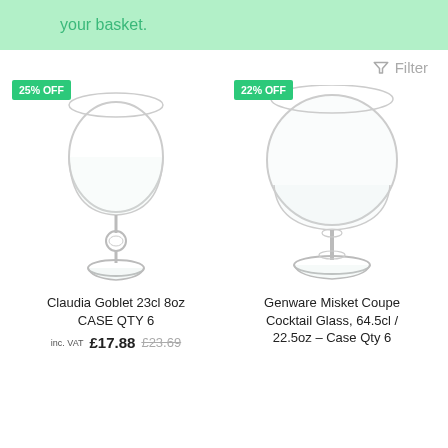your basket.
Filter
[Figure (photo): Claudia Goblet 23cl 8oz wine glass with decorative ball stem, with '25% OFF' badge]
Claudia Goblet 23cl 8oz CASE QTY 6
inc. VAT £17.88  £23.69
[Figure (photo): Genware Misket Coupe Cocktail Glass 64.5cl / 22.5oz with '22% OFF' badge]
Genware Misket Coupe Cocktail Glass, 64.5cl / 22.5oz – Case Qty 6